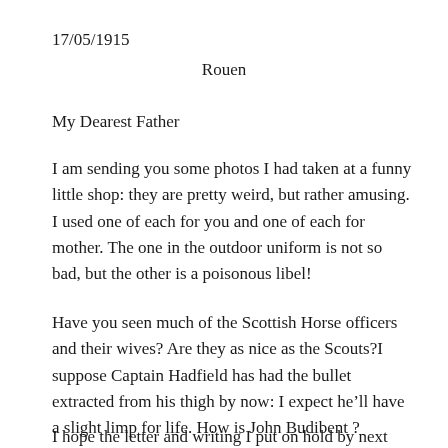17/05/1915
Rouen
My Dearest Father
I am sending you some photos I had taken at a funny little shop: they are pretty weird, but rather amusing. I used one of each for you and one of each for mother. The one in the outdoor uniform is not so bad, but the other is a poisonous libel!
Have you seen much of the Scottish Horse officers and their wives? Are they as nice as the Scouts?I suppose Captain Hadfield has had the bullet extracted from his thigh by now: I expect he’ll have a slight limp for life. How is John Budibent ?
I hope the letter and writing I put on hold by next